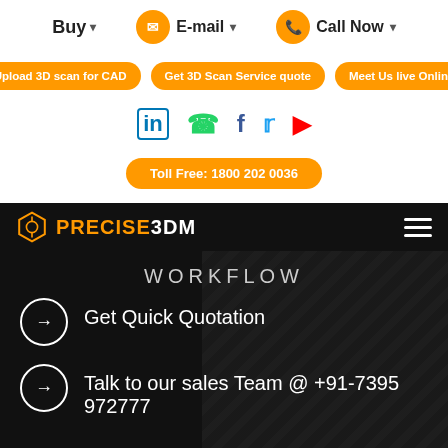Buy ▾   ✉ E-mail ▾   📞 Call Now ▾
Upload 3D scan for CAD   Get 3D Scan Service quote   Meet Us live Online
LinkedIn  WhatsApp  Facebook  Twitter  YouTube
Toll Free: 1800 202 0036
[Figure (logo): PRECISE3DM logo in orange and white on dark background with hamburger menu icon]
WORKFLOW
→ Get Quick Quotation
→ Talk to our sales Team @ +91-7395972777